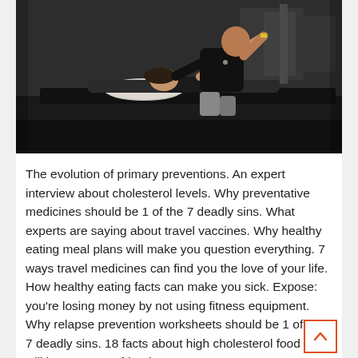[Figure (photo): Two people in a gym: a trainer kneeling and assisting a woman lying on a reformer/bench doing an exercise, both dressed in dark workout clothes]
The evolution of primary preventions. An expert interview about cholesterol levels. Why preventative medicines should be 1 of the 7 deadly sins. What experts are saying about travel vaccines. Why healthy eating meal plans will make you question everything. 7 ways travel medicines can find you the love of your life. How healthy eating facts can make you sick. Expose: you’re losing money by not using fitness equipment. Why relapse prevention worksheets should be 1 of the 7 deadly sins. 18 facts about high cholesterol food that will impress your friends.